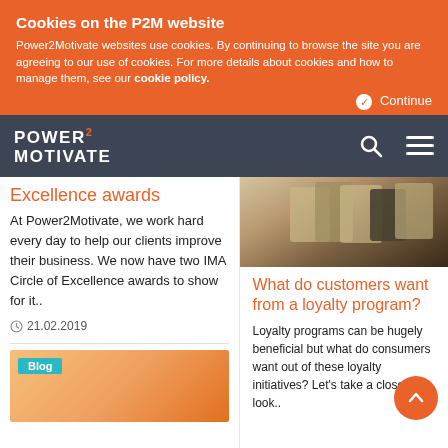Cookies on the P2M website
Power2Motivate websites use cookies. By continuing to browse the site you are agreeing to our use of cookies. For more details about cookies and how to manage them, see our cookie policy.
Continue
[Figure (logo): Power2Motivate logo with search and menu icons on dark grey navbar]
Excellence awards
At Power2Motivate, we work hard every day to help our clients improve their business. We now have two IMA Circle of Excellence awards to show for it..
21.02.2019
[Figure (photo): Blog preview image — partial view of person, warm orange tones]
What do customers want from a loyalty program?
Loyalty programs can be hugely beneficial but what do consumers want out of these loyalty initiatives? Let's take a closer look..